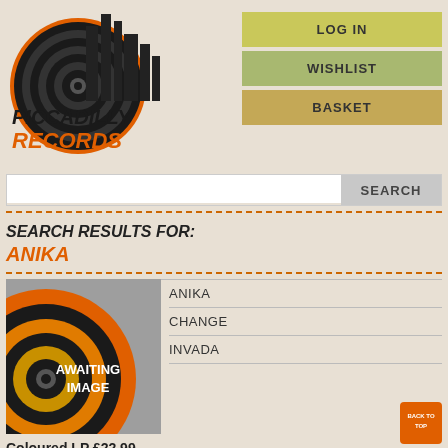[Figure (logo): Piccadilly Records logo with vinyl record and city skyline silhouette. Text reads PICCADILLY in black bold italic and RECORDS in orange bold italic.]
LOG IN
WISHLIST
BASKET
SEARCH
SEARCH RESULTS FOR:
ANIKA
[Figure (illustration): Awaiting image placeholder with concentric circles in orange, black and yellow on grey background. Text reads AWAITING IMAGE.]
ANIKA
CHANGE
INVADA
Coloured LP  £22.99
Usually ships within: 2-5 days
Silver vinyl